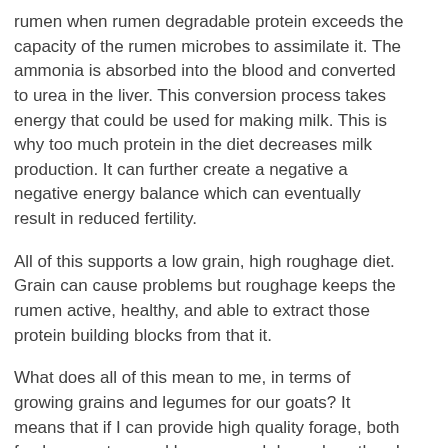rumen when rumen degradable protein exceeds the capacity of the rumen microbes to assimilate it. The ammonia is absorbed into the blood and converted to urea in the liver. This conversion process takes energy that could be used for making milk. This is why too much protein in the diet decreases milk production. It can further create a negative a negative energy balance which can eventually result in reduced fertility.
All of this supports a low grain, high roughage diet. Grain can cause problems but roughage keeps the rumen active, healthy, and able to extract those protein building blocks from that it.
What does all of this mean to me, in terms of growing grains and legumes for our goats? It means that if I can provide high quality forage, both fresh as pasture and browse, and dry as hay, then I do not need to focus on growing grains and legumes for them. I can put that land to use growing winter greens and root crops to supplement their diet rather than concentrates. If I do feed them grain and legumes, I would rather include it in their hay as whole plants, i.e.